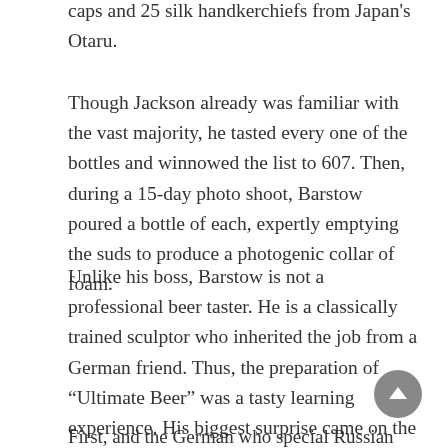caps and 25 silk handkerchiefs from Japan’s Otaru.
Though Jackson already was familiar with the vast majority, he tasted every one of the bottles and winnowed the list to 607. Then, during a 15-day photo shoot, Barstow poured a bottle of each, expertly emptying the suds to produce a photogenic collar of foam.
Unlike his boss, Barstow is not a professional beer taster. He is a classically trained sculptor who inherited the job from a German friend. Thus, the preparation of “Ultimate Beer” was a tasty learning experience. His biggest surprise came on the day they shot stouts.
First, and the German who special Russian Stout...